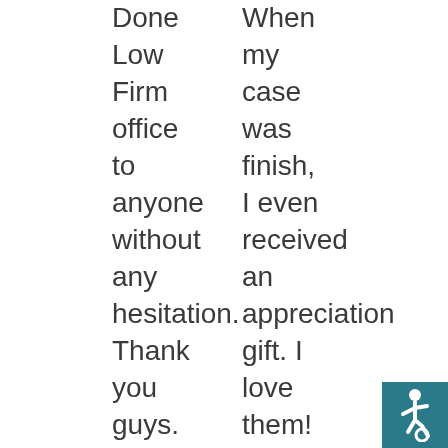Done Low Firm office to anyone without any hesitation. Thank you guys.
When my case was finish, I even received an appreciation gift. I love them! Once again, they are highly
[Figure (logo): Accessibility icon - white wheelchair symbol on teal background]